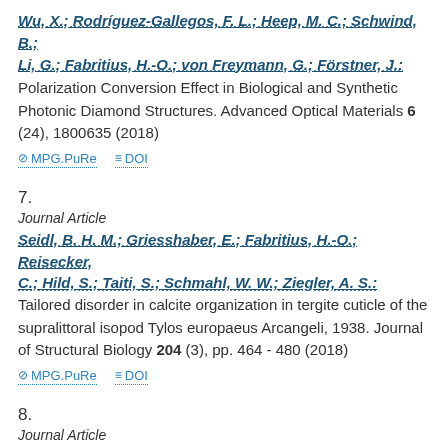Wu, X.; Rodríguez-Gallegos, F. L.; Heep, M. C.; Schwind, B.; Li, G.; Fabritius, H.-O.; von Freymann, G.; Förstner, J.: Polarization Conversion Effect in Biological and Synthetic Photonic Diamond Structures. Advanced Optical Materials 6 (24), 1800635 (2018)
MPG.PuRe   DOI
7.
Journal Article
Seidl, B. H. M.; Griesshaber, E.; Fabritius, H.-O.; Reisecker, C.; Hild, S.; Taiti, S.; Schmahl, W. W.; Ziegler, A. S.: Tailored disorder in calcite organization in tergite cuticle of the supralittoral isopod Tylos europaeus Arcangeli, 1938. Journal of Structural Biology 204 (3), pp. 464 - 480 (2018)
MPG.PuRe   DOI
8.
Journal Article